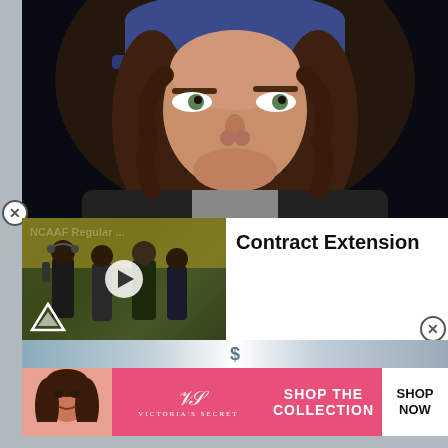[Figure (photo): Baseball player wearing a dark cap with letter 'B' visible, long curly brown hair, wearing a black hoodie, serious expression, dark background.]
[Figure (screenshot): Video thumbnail showing NCAAF Regular ... with football coaches on sideline, play button overlay, Perion logo bottom left]
Contract Extension
[Figure (photo): Blurred strip photo at bottom of sports content area]
[Figure (advertisement): Victoria's Secret advertisement: woman with curly hair on left, pink background, VS logo, text 'SHOP THE COLLECTION', white button 'SHOP NOW']